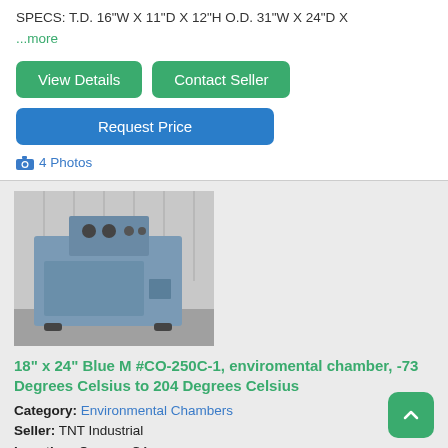SPECS: T.D. 16"W X 11"D X 12"H O.D. 31"W X 24"D X
...more
View Details
Contact Seller
Request Price
4 Photos
[Figure (photo): Blue M environmental chamber, a blue metal cabinet with control panel on top, photographed outdoors against a corrugated metal wall.]
18" x 24" Blue M #CO-250C-1, enviromental chamber, -73 Degrees Celsius to 204 Degrees Celsius
Category: Environmental Chambers
Seller: TNT Industrial
Location: Orange, CA
Mfr: Blue M